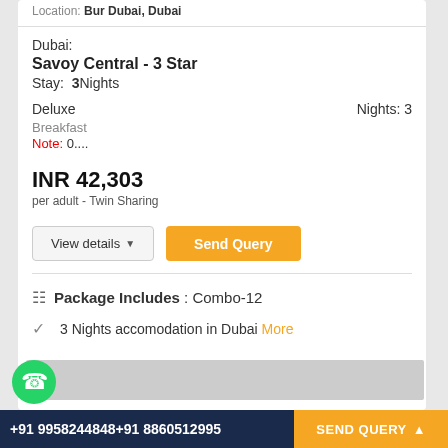Location: Bur Dubai, Dubai
Dubai:
Savoy Central - 3 Star
Stay: 3Nights
Deluxe   Nights: 3
Breakfast
Note: 0....
INR 42,303
per adult - Twin Sharing
Package Includes : Combo-12
3 Nights accomodation in Dubai More
+91 9958244848+91 8860512995   SEND QUERY